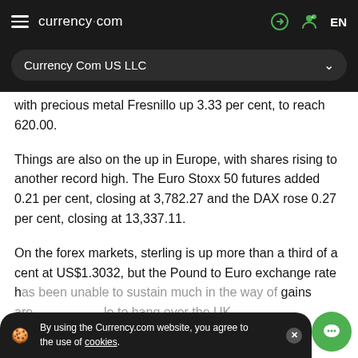currency.com  EN
Currency Com US LLC
with precious metal Fresnillo up 3.33 per cent, to reach 620.00.
Things are also on the up in Europe, with shares rising to another record high. The Euro Stoxx 50 futures added 0.21 per cent, closing at 3,782.27 and the DAX rose 0.27 per cent, closing at 13,337.11.
On the forex markets, sterling is up more than a third of a cent at US$1.3032, but the Pound to Euro exchange rate has been unable to sustain much in the way of gains are ... le to hang over the UK.
By using the Currency.com website, you agree to the use of cookies.